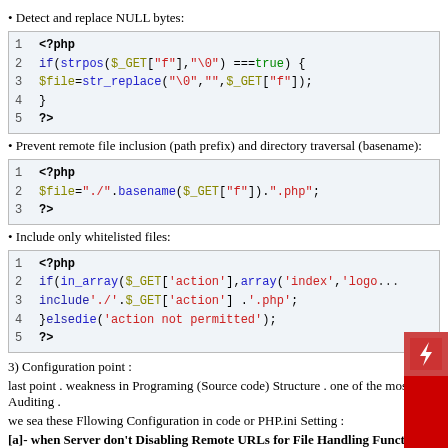• Detect and replace NULL bytes:
[Figure (screenshot): PHP code block showing NULL byte detection: if (strpos($_GET["f"], "\0") === true) { $file = str_replace("\0", "", $_GET["f"]); }]
• Prevent remote file inclusion (path prefix) and directory traversal (basename):
[Figure (screenshot): PHP code block: $file = "./".basename($_GET["f"]).".php";]
• Include only whitelisted files:
[Figure (screenshot): PHP code block: if (in_array($_GET['action'], array('index', 'logo...))) { include './'.$_GET['action'] . '.php'; } else die('action not permitted');]
3) Configuration point :
last point . weakness in Programing (Source code) Structure . one of the most cel Auditing .
we sea these Fllowing Configuration in code or PHP.ini Setting :
[a]- when Server don't Disabling Remote URLs for File Handling Functions...